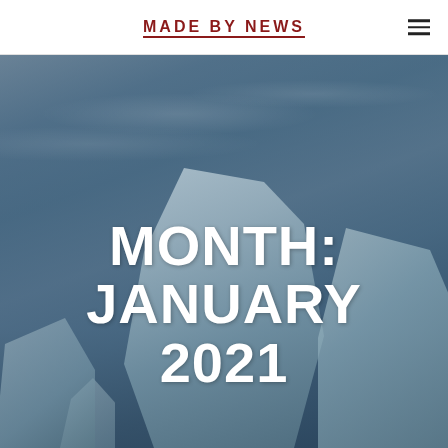MADE BY NEWS
[Figure (photo): Large hero image of icebergs floating on dark blue-grey water under a cloudy sky, with a dark blue color overlay tint covering the entire image.]
MONTH: JANUARY 2021